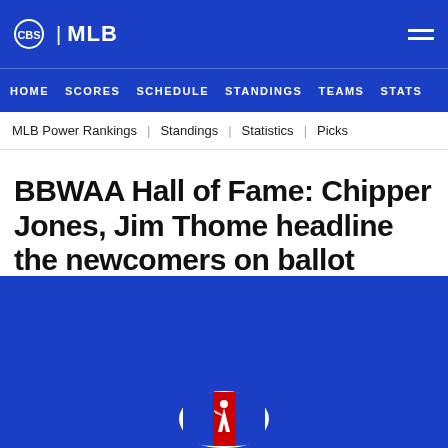CBS | MLB
HOME   SCORES   SCHEDULE   STANDINGS   TEAMS   STATS
MLB Power Rankings   Standings   Statistics   Picks
BBWAA Hall of Fame: Chipper Jones, Jim Thome headline the newcomers on ballot
By Matt Snyder Nov 20, 2017 at 12:42 pm ET • 2 min read
[Figure (logo): MLB logo at bottom of blue section]